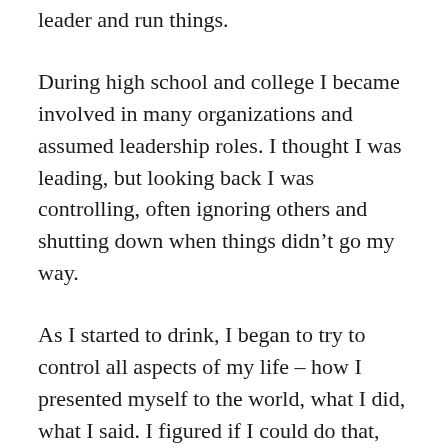leader and run things.
During high school and college I became involved in many organizations and assumed leadership roles. I thought I was leading, but looking back I was controlling, often ignoring others and shutting down when things didn’t go my way.
As I started to drink, I began to try to control all aspects of my life – how I presented myself to the world, what I did, what I said. I figured if I could do that, everything would be okay. Initially, this started as a way to conceal my sexuality, but it soon began to be a way to conceal how much I drank how out of control